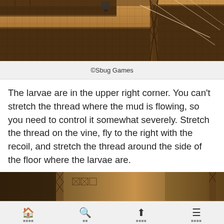[Figure (screenshot): Pixel art game screenshot showing a platform scene with brown/tan terrain, a small character in the upper area, and thin thread/web lines stretching across the scene. Sandy/earthy tones with darker brown platforms.]
©Sbug Games
The larvae are in the upper right corner. You can't stretch the thread where the mud is flowing, so you need to control it somewhat severely. Stretch the thread on the vine, fly to the right with the recoil, and stretch the thread around the side of the floor where the larvae are.
[Figure (screenshot): Bottom portion of a pixel art game screenshot showing similar earthy terrain with dark brown and tan/orange sections.]
Home  Search  Up  Menu